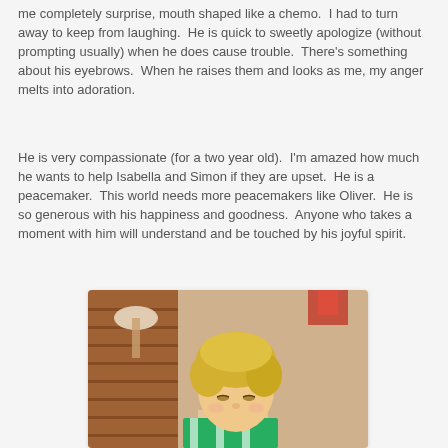me completely surprise, mouth shaped like a chemo. I had to turn away to keep from laughing. He is quick to sweetly apologize (without prompting usually) when he does cause trouble. There's something about his eyebrows. When he raises them and looks as me, my anger melts into adoration.
He is very compassionate (for a two year old). I'm amazed how much he wants to help Isabella and Simon if they are upset. He is a peacemaker. This world needs more peacemakers like Oliver. He is so generous with his happiness and goodness. Anyone who takes a moment with him will understand and be touched by his joyful spirit.
[Figure (photo): A young blonde toddler boy looking downward, wearing a green and white striped shirt. Background shows a brick wall and lamp. Photo has a white border and slight shadow.]